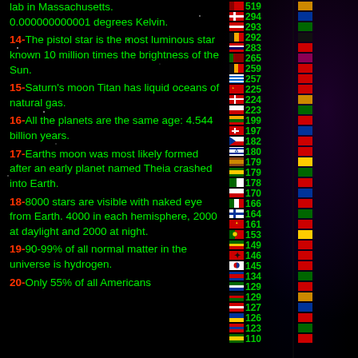lab in Massachusetts. 0.000000000001 degrees Kelvin.
14-The pistol star is the most luminous star known 10 million times the brightness of the Sun.
15-Saturn’s moon Titan has liquid oceans of natural gas.
16-All the planets are the same age: 4.544 billion years.
17-Earths moon was most likely formed after an early planet named Theia crashed into Earth.
18-8000 stars are visible with naked eye from Earth. 4000 in each hemisphere, 2000 at daylight and 2000 at night.
19-90-99% of all normal matter in the universe is hydrogen.
20-Only 55% of all Americans
[Figure (infographic): Two columns of country flags with associated numeric values, ranging from 319 down to approximately 110, representing some country statistic ranking.]